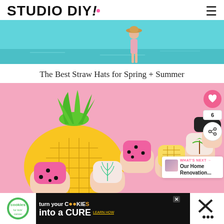STUDIO DIY!
[Figure (photo): Beach scene with turquoise water and person wearing a straw hat]
The Best Straw Hats for Spring + Summer
[Figure (photo): Close-up of colorful fruit-themed nail art on a hand holding a yellow pineapple float, with heart and share UI buttons and a 'What's Next: Our Home Renovation...' widget overlay]
[Figure (photo): Advertisement banner: cookies for kids cancer - turn your COOKIES into a CURE LEARN HOW]